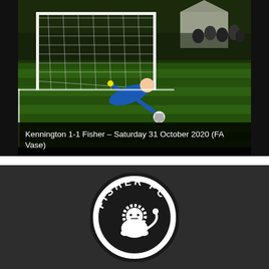[Figure (photo): Photograph of a goalkeeper diving low to save a ball near the post on a floodlit football pitch. Spectators visible in the background. This is from the match Kennington vs Fisher.]
Kennington 1-1 Fisher – Saturday 31 October 2020 (FA Vase)
[Figure (logo): Fisher FC circular club badge/logo in black and white, showing the text 'FISHER FC' around a circle with a lion crest in the centre, on a dark background.]